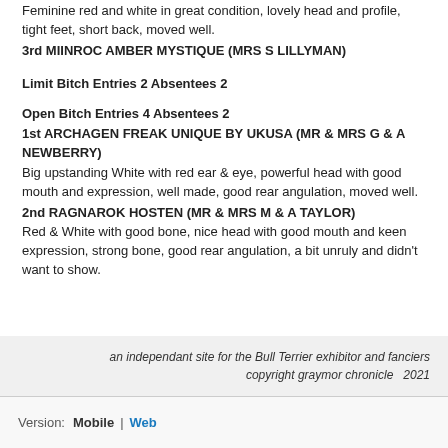Feminine red and white in great condition, lovely head and profile, tight feet, short back, moved well.
3rd MIINROC AMBER MYSTIQUE (MRS S LILLYMAN)
Limit Bitch Entries 2 Absentees 2
Open Bitch Entries 4 Absentees 2
1st ARCHAGEN FREAK UNIQUE BY UKUSA (MR & MRS G & A NEWBERRY)
Big upstanding White with red ear & eye, powerful head with good mouth and expression, well made, good rear angulation, moved well.
2nd RAGNAROK HOSTEN (MR & MRS M & A TAYLOR)
Red & White with good bone, nice head with good mouth and keen expression, strong bone, good rear angulation, a bit unruly and didn't want to show.
an independant site for the Bull Terrier exhibitor and fanciers
copyright graymor chronicle  2021
Version: Mobile | Web